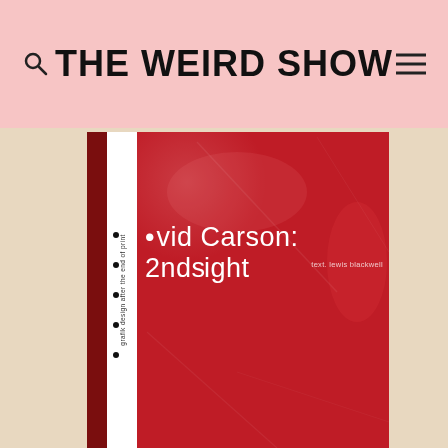THE WEIRD SHOW
[Figure (photo): A photograph of a red hardcover book titled 'David Carson: 2ndsight' with text on spine reading 'grafik design after the end of print'. The book cover is red with white text. A white spine strip is visible on the left. The book is photographed on a beige/tan surface.]